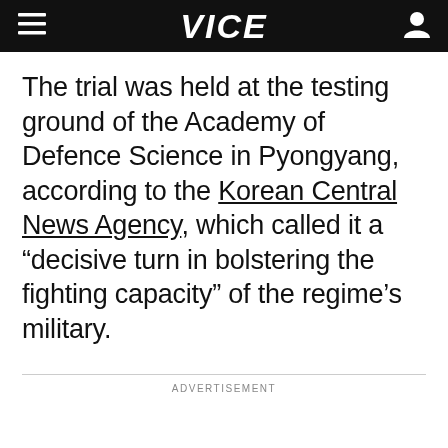VICE
The trial was held at the testing ground of the Academy of Defence Science in Pyongyang, according to the Korean Central News Agency, which called it a “decisive turn in bolstering the fighting capacity” of the regime’s military.
ADVERTISEMENT
[Figure (other): Placeholder advertisement image icon showing a mountain/landscape symbol inside a square border]